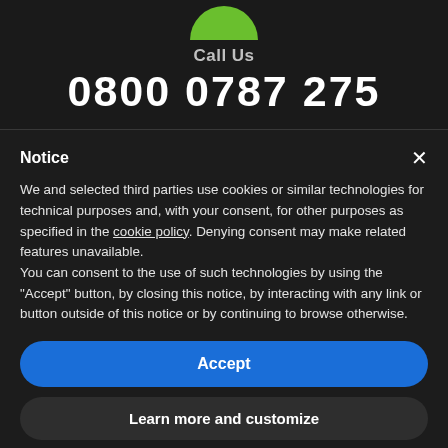[Figure (logo): Green rounded phone/call icon, semicircle shape]
Call Us
0800 0787 275
Notice
We and selected third parties use cookies or similar technologies for technical purposes and, with your consent, for other purposes as specified in the cookie policy. Denying consent may make related features unavailable.
You can consent to the use of such technologies by using the "Accept" button, by closing this notice, by interacting with any link or button outside of this notice or by continuing to browse otherwise.
Accept
Learn more and customize